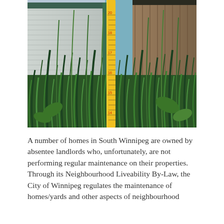[Figure (photo): Photograph of very tall overgrown grass and weeds in front of residential homes, with a yellow measuring tape visible in the center showing measurements around 14-20 inches, illustrating unmaintained property.]
A number of homes in South Winnipeg are owned by absentee landlords who, unfortunately, are not performing regular maintenance on their properties. Through its Neighbourhood Liveability By-Law, the City of Winnipeg regulates the maintenance of homes/yards and other aspects of neighbourhood